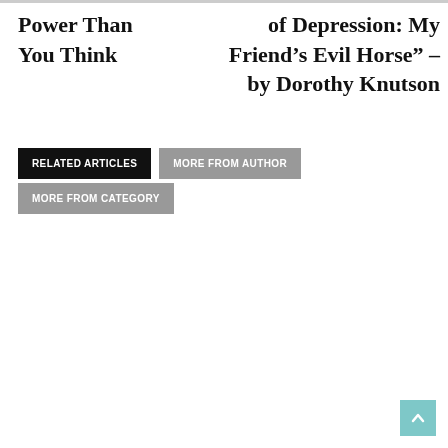Power Than You Think
of Depression: My Friend’s Evil Horse” – by Dorothy Knutson
RELATED ARTICLES
MORE FROM AUTHOR
MORE FROM CATEGORY